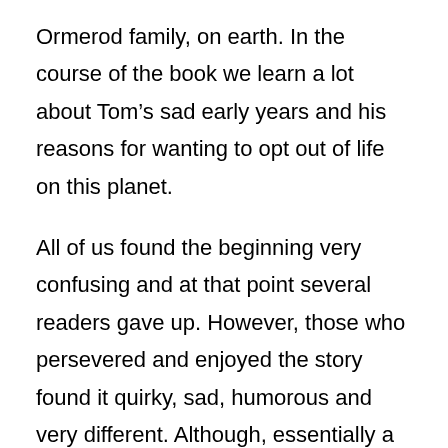Ormerod family, on earth. In the course of the book we learn a lot about Tom's sad early years and his reasons for wanting to opt out of life on this planet.
All of us found the beginning very confusing and at that point several readers gave up. However, those who persevered and enjoyed the story found it quirky, sad, humorous and very different. Although, essentially a fantasy, the tale touched on important topics such as death, divorce, dementia, racism, bullying, scammers and getting on with people. Those who were not so impressed found it difficult to relate to the stereotypical characters and, at times, farcical plot.
This book would make a good read for teenagers and